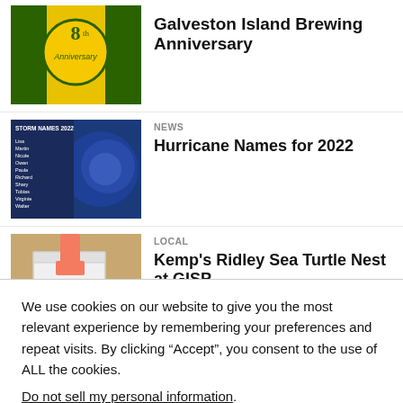Galveston Island Brewing Anniversary
NEWS
Hurricane Names for 2022
LOCAL
Kemp's Ridley Sea Turtle Nest at GISP
We use cookies on our website to give you the most relevant experience by remembering your preferences and repeat visits. By clicking “Accept”, you consent to the use of ALL the cookies.
Do not sell my personal information.
Cookie Settings
Accept